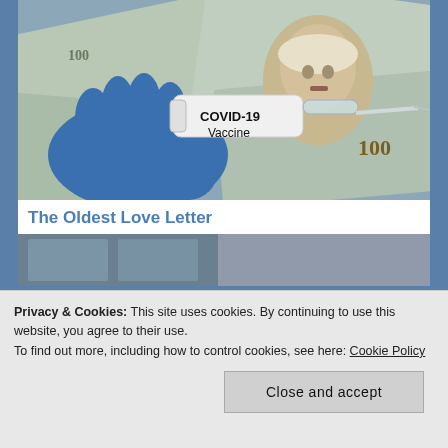[Figure (photo): Blue gloved hand holding a small glass vial labeled 'COVID-19 Vaccine' against a background of US $100 dollar bills]
The Oldest Love Letter
[Figure (photo): Partial view of a second article image, partially obscured by cookie banner]
Privacy & Cookies: This site uses cookies. By continuing to use this website, you agree to their use.
To find out more, including how to control cookies, see here: Cookie Policy
Close and accept